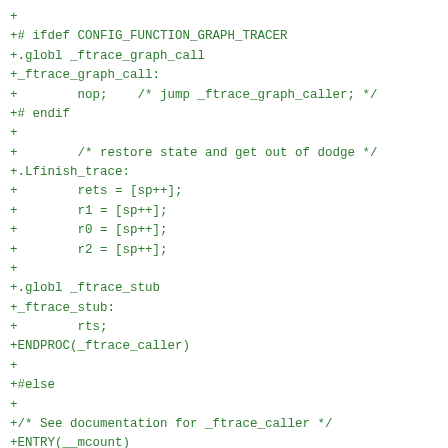+
+# ifdef CONFIG_FUNCTION_GRAPH_TRACER
+.globl _ftrace_graph_call
+_ftrace_graph_call:
+        nop;    /* jump _ftrace_graph_caller; */
+# endif
+
+        /* restore state and get out of dodge */
+.Lfinish_trace:
+        rets = [sp++];
+        r1 = [sp++];
+        r0 = [sp++];
+        r2 = [sp++];
+
+.globl _ftrace_stub
+_ftrace_stub:
+        rts;
+ENDPROC(_ftrace_caller)
+
+#else
+
+/* See documentation for _ftrace_caller */
+ENTRY(__mcount)
+# ifdef CONFIG_HAVE_FUNCTION_TRACE_MCOUNT_TEST
+        /* optional micro optimization: return if stopped */